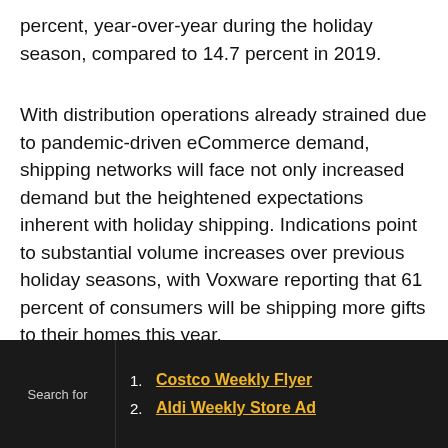percent, year-over-year during the holiday season, compared to 14.7 percent in 2019.
With distribution operations already strained due to pandemic-driven eCommerce demand, shipping networks will face not only increased demand but the heightened expectations inherent with holiday shipping. Indications point to substantial volume increases over previous holiday seasons, with Voxware reporting that 61 percent of consumers will be shipping more gifts to their homes this year.
More consumers are also planning to ship gifts directly to recipients, a trend likely linked to social distancing recommendations and reduced or
Search for
1. Costco Weekly Flyer
2. Aldi Weekly Store Ad